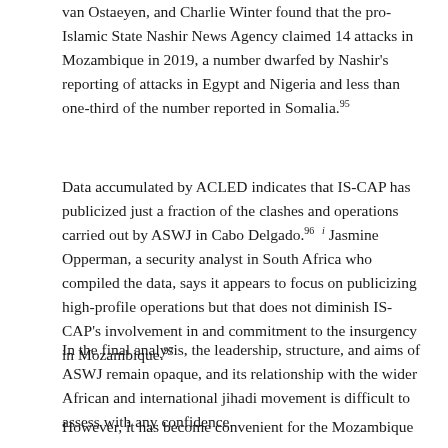van Ostaeyen, and Charlie Winter found that the pro-Islamic State Nashir News Agency claimed 14 attacks in Mozambique in 2019, a number dwarfed by Nashir's reporting of attacks in Egypt and Nigeria and less than one-third of the number reported in Somalia.⁹⁵
Data accumulated by ACLED indicates that IS-CAP has publicized just a fraction of the clashes and operations carried out by ASWJ in Cabo Delgado.⁹⁶ ⁱ Jasmine Opperman, a security analyst in South Africa who compiled the data, says it appears to focus on publicizing high-profile operations but that does not diminish IS-CAP's involvement in and commitment to the insurgency in Mozambique.⁹⁷
In the final analysis, the leadership, structure, and aims of ASWJ remain opaque, and its relationship with the wider African and international jihadi movement is difficult to assess with any confidence.
However, it has become convenient for the Mozambique